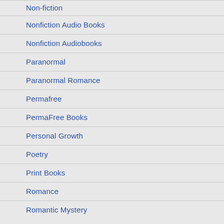Non-fiction
Nonfiction Audio Books
Nonfiction Audiobooks
Paranormal
Paranormal Romance
Permafree
PermaFree Books
Personal Growth
Poetry
Print Books
Romance
Romantic Mystery